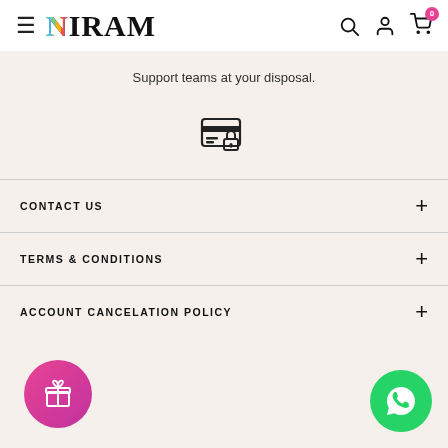NIRAM — navigation header with hamburger menu, search, account, and cart (0) icons
Support teams at your disposal.
[Figure (illustration): Secure payments icon: credit card with a padlock]
SECURE PAYMENTS
We've made it easier than before.
CONTACT US
TERMS & CONDITIONS
ACCOUNT CANCELATION POLICY